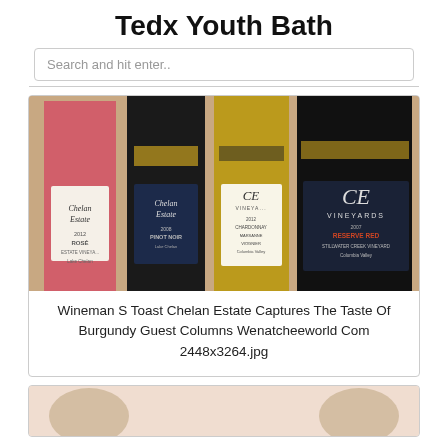Tedx Youth Bath
Search and hit enter..
[Figure (photo): Four wine bottles lined up: Chelan Estate Rosé, Chelan Estate 2008 Pinot Noir, CE Vineyards 2012 Chardonnay Marsanne Viognier, and CE Vineyards 2007 Reserve Red Stillwater Creek Vineyard Columbia Valley.]
Wineman S Toast Chelan Estate Captures The Taste Of Burgundy Guest Columns Wenatcheeworld Com 2448x3264.jpg
[Figure (photo): Partial view of another image at the bottom of the page.]